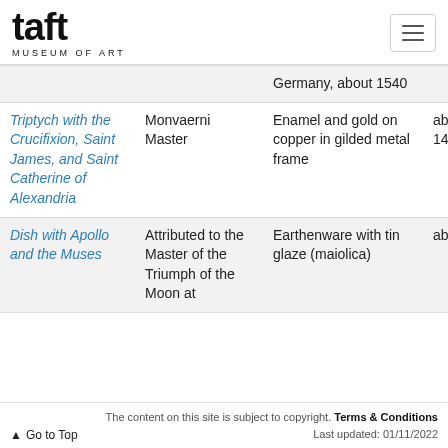taft MUSEUM OF ART
| Title | Artist | Medium | Date |
| --- | --- | --- | --- |
| [partial] Germany, about 1540 |  |  |  |
| Triptych with the Crucifixion, Saint James, and Saint Catherine of Alexandria | Monvaerni Master | Enamel and gold on copper in gilded metal frame | about 1484–1497 |
| Dish with Apollo and the Muses | Attributed to the Master of the Triumph of the Moon at... | Earthenware with tin glaze (maiolica) | about 1525 |
Go to Top  The content on this site is subject to copyright. Terms & Conditions  Last updated: 01/11/2022